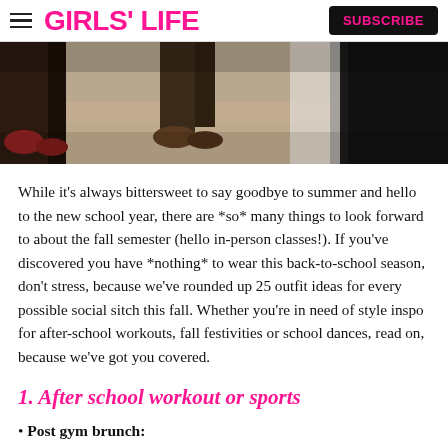GIRLS' LIFE  SUBSCRIBE
[Figure (photo): Close-up photo of people's feet and legs walking, showing shoes and lower legs on a tiled floor.]
While it's always bittersweet to say goodbye to summer and hello to the new school year, there are *so* many things to look forward to about the fall semester (hello in-person classes!). If you've discovered you have *nothing* to wear this back-to-school season, don't stress, because we've rounded up 25 outfit ideas for every possible social sitch this fall. Whether you're in need of style inspo for after-school workouts, fall festivities or school dances, read on, because we've got you covered.
1. After school workout or sports
Post gym brunch: